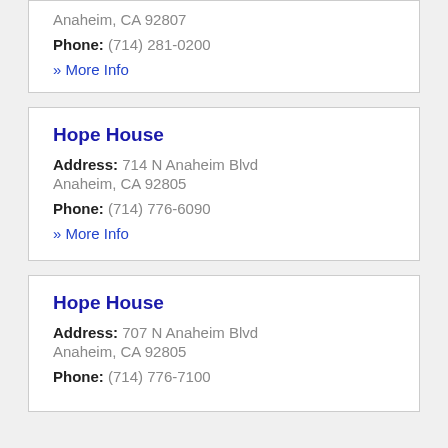Anaheim, CA 92807
Phone: (714) 281-0200
» More Info
Hope House
Address: 714 N Anaheim Blvd
Anaheim, CA 92805
Phone: (714) 776-6090
» More Info
Hope House
Address: 707 N Anaheim Blvd
Anaheim, CA 92805